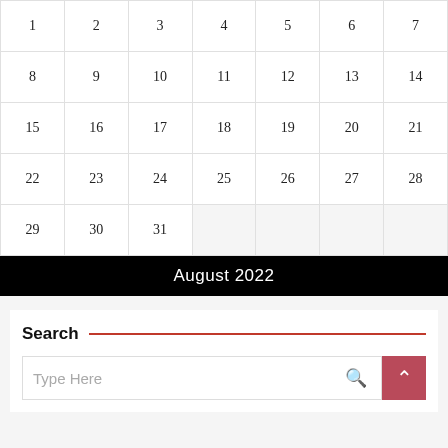|  |  |  |  |  |  |  |
| --- | --- | --- | --- | --- | --- | --- |
| 1 | 2 | 3 | 4 | 5 | 6 | 7 |
| 8 | 9 | 10 | 11 | 12 | 13 | 14 |
| 15 | 16 | 17 | 18 | 19 | 20 | 21 |
| 22 | 23 | 24 | 25 | 26 | 27 | 28 |
| 29 | 30 | 31 |  |  |  |  |
August 2022
« Dec
Search
Type Here